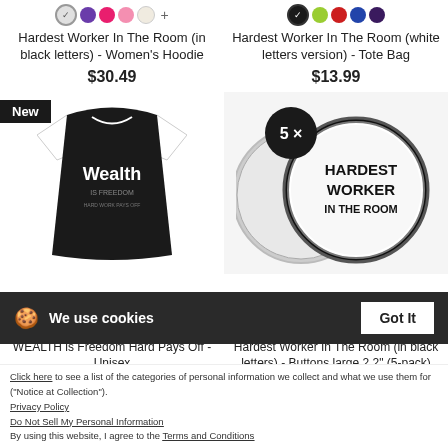[Figure (photo): Color swatches row for Women's Hoodie: gray checkmark, purple, hot pink, pink, cream, plus sign]
Hardest Worker In The Room (in black letters) - Women's Hoodie
$30.49
[Figure (photo): Color swatches row for Tote Bag: dark checkmark, lime green, red, blue, dark purple]
Hardest Worker In The Room (white letters version) - Tote Bag
$13.99
[Figure (photo): New badge baseball tee with Wealth is Freedom text in white on black shirt]
[Figure (photo): 5x button pack showing HARDEST WORKER IN THE ROOM text on large buttons]
We use cookies
Got It
Click here to see a list of the categories of personal information we collect and what we use them for ("Notice at Collection").
Privacy Policy
Do Not Sell My Personal Information
By using this website, I agree to the Terms and Conditions
WEALTH is Freedom Hard Pays Off - Unisex
Hardest Worker In The Room (in black letters) - Buttons large 2.2" (5-pack)